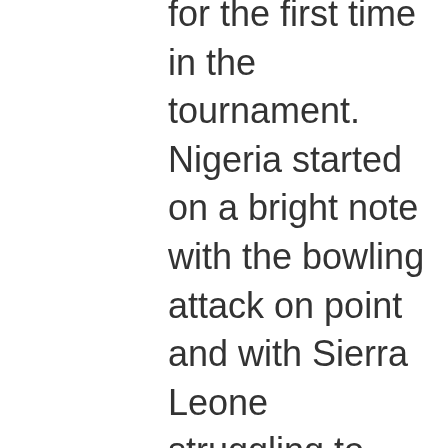for the first time in the tournament. Nigeria started on a bright note with the bowling attack on point and with Sierra Leone struggling to piece together a decent partnership. A lone ranger in the person of Kamara Henry struck with power and venom into every trick